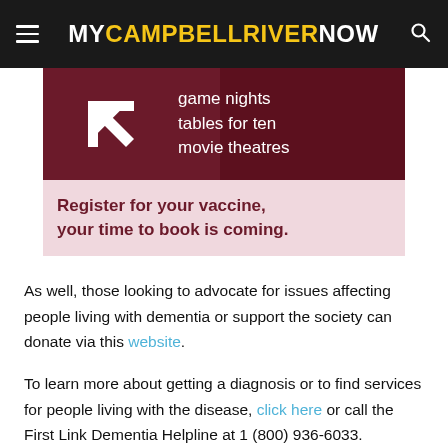MYCAMPBELLRIVERNOW
[Figure (infographic): Ad banner with dark red top section showing arrow icon and text 'game nights tables for ten movie theatres', and light pink bottom section with bold text 'Register for your vaccine, your time to book is coming.']
As well, those looking to advocate for issues affecting people living with dementia or support the society can donate via this website.
To learn more about getting a diagnosis or to find services for people living with the disease, click here or call the First Link Dementia Helpline at 1 (800) 936-6033.
Advertisement